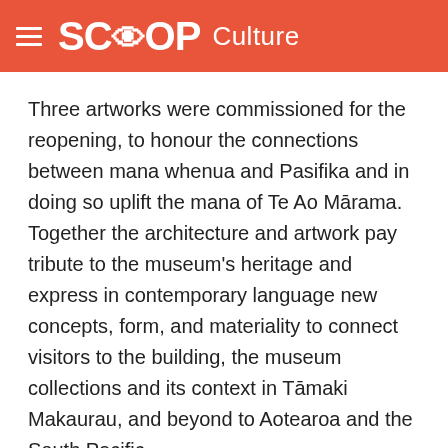SCOOP Culture
Three artworks were commissioned for the reopening, to honour the connections between mana whenua and Pasifika and in doing so uplift the mana of Te Ao Mārama. Together the architecture and artwork pay tribute to the museum's heritage and express in contemporary language new concepts, form, and materiality to connect visitors to the building, the museum collections and its context in Tāmaki Makaurau, and beyond to Aotearoa and the South Pacific.
Te Tatau Kaitiaki, the entry gateway by Graham Tipene, depicting two female ancestors is there to signal the